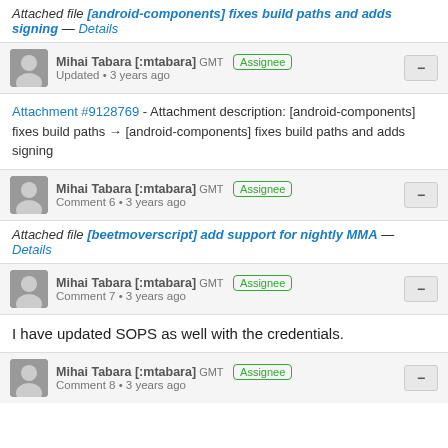Attached file [android-components] fixes build paths and adds signing — Details
[Figure (other): User avatar for Mihai Tabara [:mtabara]]
Mihai Tabara [:mtabara] GMT  Assignee
Updated • 3 years ago
Attachment #9128769 - Attachment description: [android-components] fixes build paths → [android-components] fixes build paths and adds signing
[Figure (other): User avatar for Mihai Tabara [:mtabara]]
Mihai Tabara [:mtabara] GMT  Assignee
Comment 6 • 3 years ago
Attached file [beetmoverscript] add support for nightly MMA — Details
[Figure (other): User avatar for Mihai Tabara [:mtabara]]
Mihai Tabara [:mtabara] GMT  Assignee
Comment 7 • 3 years ago
I have updated SOPS as well with the credentials.
[Figure (other): User avatar for Mihai Tabara [:mtabara]]
Mihai Tabara [:mtabara] GMT  Assignee
Comment 8 • 3 years ago